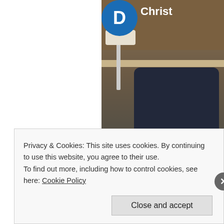[Figure (photo): Partial screenshot of a webpage showing a photo of an office/hotel lobby interior with a dark quilted chair and shelves in the background, with a user avatar circle showing letter D and partial name 'Christ' visible in the top right corner]
Advertise
AU
Privacy & Cookies: This site uses cookies. By continuing to use this website, you agree to their use.
To find out more, including how to control cookies, see here: Cookie Policy
Close and accept